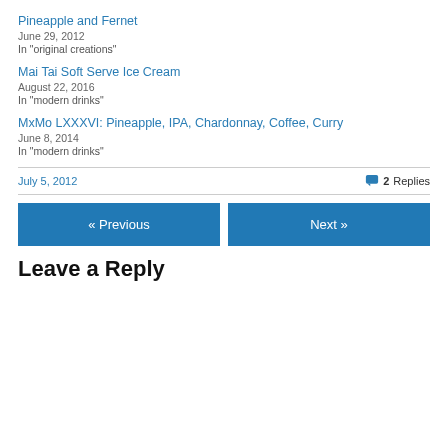Pineapple and Fernet
June 29, 2012
In "original creations"
Mai Tai Soft Serve Ice Cream
August 22, 2016
In "modern drinks"
MxMo LXXXVI: Pineapple, IPA, Chardonnay, Coffee, Curry
June 8, 2014
In "modern drinks"
July 5, 2012
2 Replies
« Previous
Next »
Leave a Reply